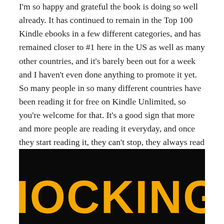I'm so happy and grateful the book is doing so well already. It has continued to remain in the Top 100 Kindle ebooks in a few different categories, and has remained closer to #1 here in the US as well as many other countries, and it's barely been out for a week and I haven't even done anything to promote it yet. So many people in so many different countries have been reading it for free on Kindle Unlimited, so you're welcome for that. It's a good sign that more and more people are reading it everyday, and once they start reading it, they can't stop, they always read a lot of pages, more and more pages are read every day…
[Figure (illustration): Book cover with black background and bold yellow/gold text reading 'SHOCKINGLY' in large uppercase letters]